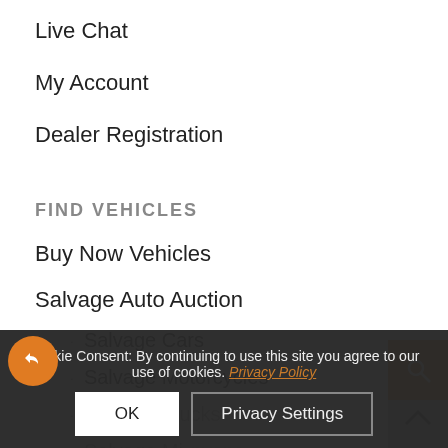Live Chat
My Account
Dealer Registration
FIND VEHICLES
Buy Now Vehicles
Salvage Auto Auction
Salvage Cars
Salvage Motorcycles
Salvage Trucks
Salvage Minivans
Salvage RVs
Cookie Consent: By continuing to use this site you agree to our use of cookies. Privacy Policy
OK
Privacy Settings